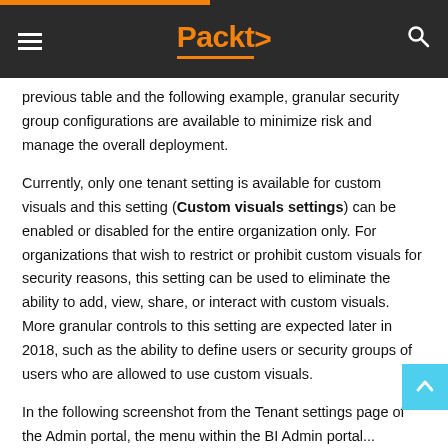Packt>
previous table and the following example, granular security group configurations are available to minimize risk and manage the overall deployment.
Currently, only one tenant setting is available for custom visuals and this setting (Custom visuals settings) can be enabled or disabled for the entire organization only. For organizations that wish to restrict or prohibit custom visuals for security reasons, this setting can be used to eliminate the ability to add, view, share, or interact with custom visuals. More granular controls to this setting are expected later in 2018, such as the ability to define users or security groups of users who are allowed to use custom visuals.
In the following screenshot from the Tenant settings page of the Admin portal, the menu within the BI Admin portal...